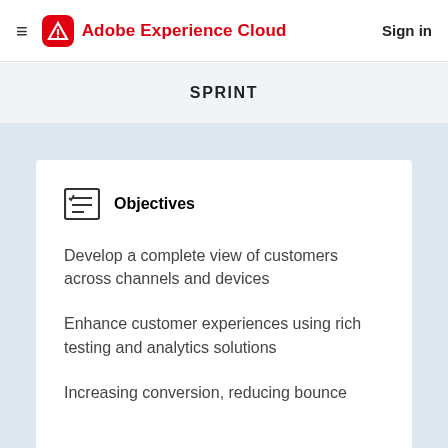Adobe Experience Cloud  Sign in
SPRINT
Objectives
Develop a complete view of customers across channels and devices
Enhance customer experiences using rich testing and analytics solutions
Increasing conversion, reducing bounce